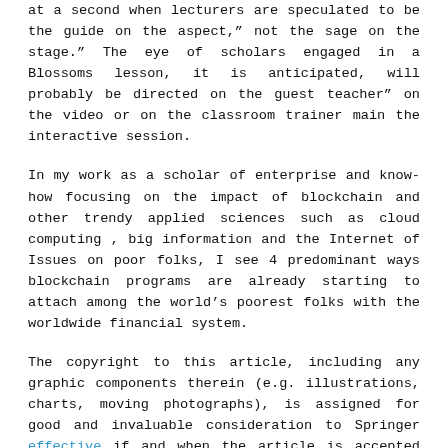at a second when lecturers are speculated to be the guide on the aspect," not the sage on the stage." The eye of scholars engaged in a Blossoms lesson, it is anticipated, will probably be directed on the guest teacher" on the video or on the classroom trainer main the interactive session.
In my work as a scholar of enterprise and know-how focusing on the impact of blockchain and other trendy applied sciences such as cloud computing , big information and the Internet of Issues on poor folks, I see 4 predominant ways blockchain programs are already starting to attach among the world's poorest folks with the worldwide financial system.
The copyright to this article, including any graphic components therein (e.g. illustrations, charts, moving photographs), is assigned for good and invaluable consideration to Springer effective if and when the article is accepted for publication and to the extent assignable if assignability is restricted for by relevant regulation or laws (e.g. for U.S. government or crown employees).